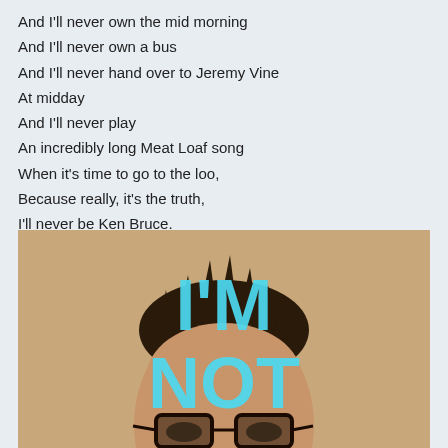And I'll never own the mid morning
And I'll never own a bus
And I'll never hand over to Jeremy Vine
At midday
And I'll never play
An incredibly long Meat Loaf song
When it's time to go to the loo,
Because really, it's the truth,
I'll never be Ken Bruce.
[Figure (photo): A man with spiky dark hair and glasses, seen from mid-face up, with large cyan text overlaid reading 'I'M NOT' (Ken Bruce implied below)]